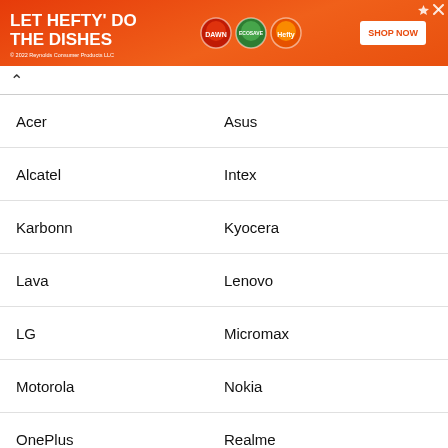[Figure (illustration): Orange advertisement banner for Hefty dish soap: 'LET HEFTY DO THE DISHES' with product images and SHOP NOW button. © 2022 Reynolds Consumer Products LLC]
Acer | Asus
Alcatel | Intex
Karbonn | Kyocera
Lava | Lenovo
LG | Micromax
Motorola | Nokia
OnePlus | Realme